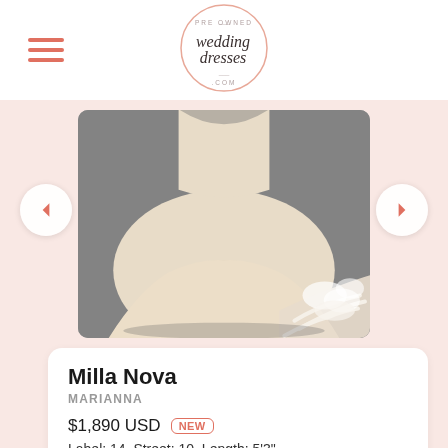[Figure (logo): Pre Owned Wedding Dresses .com circular logo in pink/salmon outline with script lettering]
[Figure (photo): Wedding dress skirt and train in cream/champagne fabric spread on a grey floor]
Milla Nova
MARIANNA
$1,890 USD NEW
Label: 14  Street: 10  Length: 5'3"
Returns Offered